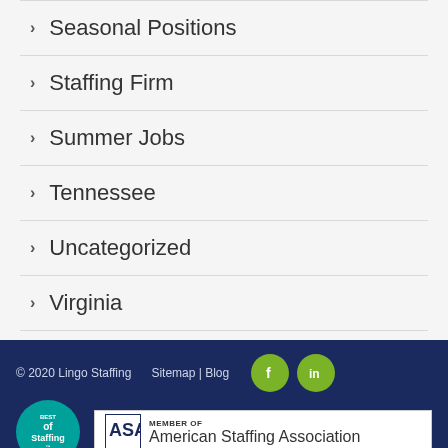Seasonal Positions
Staffing Firm
Summer Jobs
Tennessee
Uncategorized
Virginia
© 2020 Lingo Staffing  Sitemap | Blog  [Facebook icon] [LinkedIn icon]  BEST of Staffing™  MEMBER OF American Staffing Association